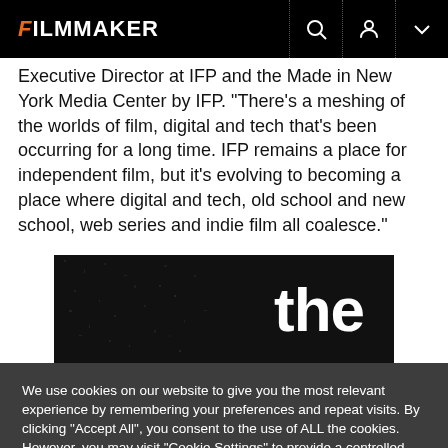FILMMAKER
Executive Director at IFP and the Made in New York Media Center by IFP. “There’s a meshing of the worlds of film, digital and tech that’s been occurring for a long time. IFP remains a place for independent film, but it’s evolving to becoming a place where digital and tech, old school and new school, web series and indie film all coalesce.”
[Figure (photo): Dark cinematic image with the word 'the' in bold white text on a black background with film grain/noise texture]
We use cookies on our website to give you the most relevant experience by remembering your preferences and repeat visits. By clicking “Accept All”, you consent to the use of ALL the cookies. However, you may visit "Cookie Settings" to provide a controlled consent.